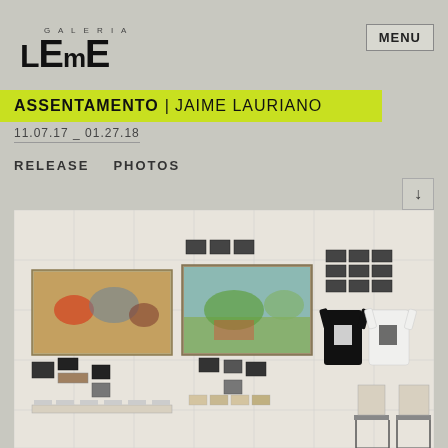GALERIA LEmE
ASSENTAMENTO | JAIME LAURIANO
11.07.17 _ 01.27.18
RELEASE   PHOTOS
[Figure (photo): Installation view of art exhibition showing two large colorful paintings on a concrete grid wall, with numerous smaller framed works, objects on shelves, and two t-shirts (black and white) displayed on hangers on the right side. Two small pedestals with objects are visible at the bottom right.]